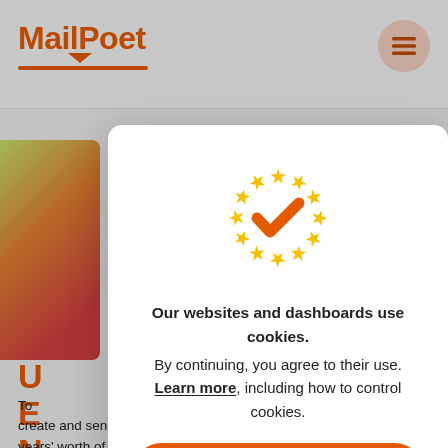MailPoet
[Figure (illustration): EU flag stars circle with orange checkmark in the center, cookie consent dialog icon]
Our websites and dashboards use cookies. By continuing, you agree to their use. Learn more, including how to control cookies.
Got it!